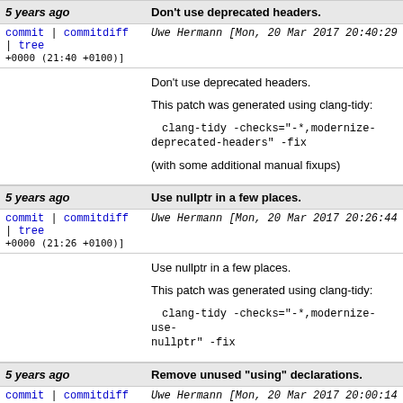| Age | Subject |
| --- | --- |
| 5 years ago | Don't use deprecated headers. |
| commit | commitdiff | tree
+0000 (21:40 +0100)] | Uwe Hermann [Mon, 20 Mar 2017 20:40:29 +0000 (21:40 +0100)] |
|  | Don't use deprecated headers.

This patch was generated using clang-tidy:

  clang-tidy -checks="-*,modernize-deprecated-headers" -fix

(with some additional manual fixups) |
| 5 years ago | Use nullptr in a few places. |
| commit | commitdiff | tree
+0000 (21:26 +0100)] | Uwe Hermann [Mon, 20 Mar 2017 20:26:44 +0000 (21:26 +0100)] |
|  | Use nullptr in a few places.

This patch was generated using clang-tidy:

  clang-tidy -checks="-*,modernize-use-nullptr" -fix |
| 5 years ago | Remove unused "using" declarations. |
| commit | commitdiff | tree
+0000 (21:00 +0100)] | Uwe Hermann [Mon, 20 Mar 2017 20:00:14 +0000 (21:00 +0100)] |